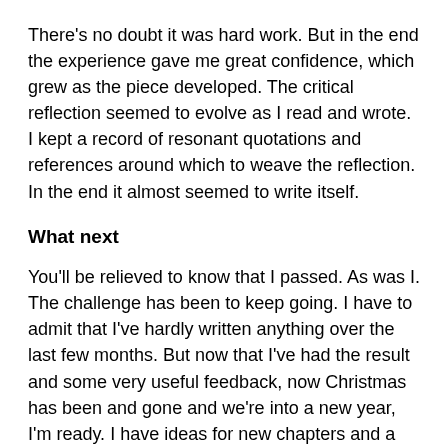There's no doubt it was hard work. But in the end the experience gave me great confidence, which grew as the piece developed. The critical reflection seemed to evolve as I read and wrote. I kept a record of resonant quotations and references around which to weave the reflection. In the end it almost seemed to write itself.
What next
You'll be relieved to know that I passed. As was I. The challenge has been to keep going. I have to admit that I've hardly written anything over the last few months. But now that I've had the result and some very useful feedback, now Christmas has been and gone and we're into a new year, I'm ready. I have ideas for new chapters and a way forward to the end. So, I hope to finish my memoir. And maybe, just maybe, it will be published one day.
As you approach what seems perhaps a daunting task, try to think of the dissertation as an opportunity. Write something you feel passionate about, play to your strengths and work at your weaknesses, and get every bit of support you can from